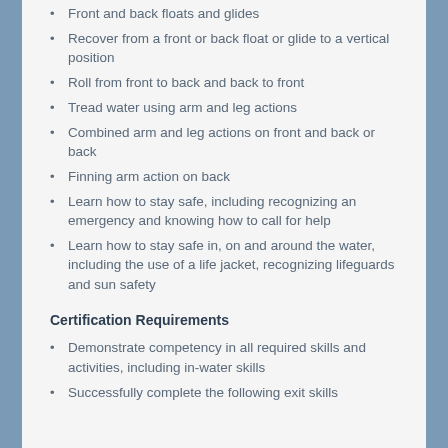Front and back floats and glides
Recover from a front or back float or glide to a vertical position
Roll from front to back and back to front
Tread water using arm and leg actions
Combined arm and leg actions on front and back or back
Finning arm action on back
Learn how to stay safe, including recognizing an emergency and knowing how to call for help
Learn how to stay safe in, on and around the water, including the use of a life jacket, recognizing lifeguards and sun safety
Certification Requirements
Demonstrate competency in all required skills and activities, including in-water skills
Successfully complete the following exit skills